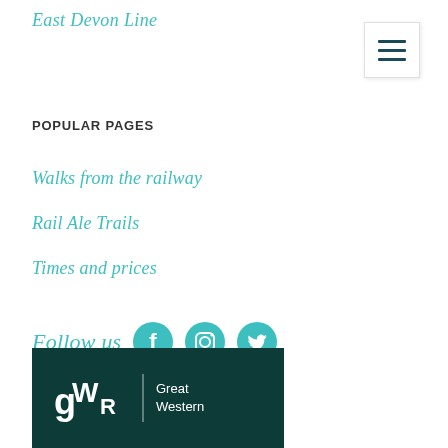East Devon Line
POPULAR PAGES
Walks from the railway
Rail Ale Trails
Times and prices
Follow us
[Figure (logo): GWR Great Western logo on dark green background]